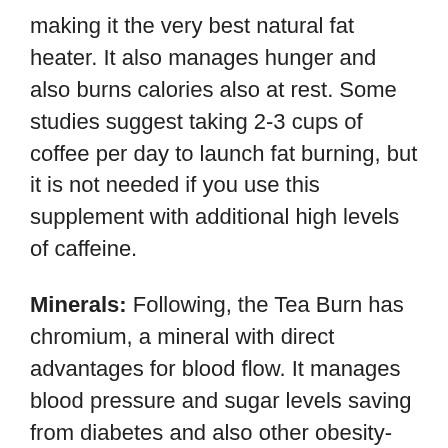making it the very best natural fat heater. It also manages hunger and also burns calories also at rest. Some studies suggest taking 2-3 cups of coffee per day to launch fat burning, but it is not needed if you use this supplement with additional high levels of caffeine.
Minerals: Following, the Tea Burn has chromium, a mineral with direct advantages for blood flow. It manages blood pressure and sugar levels saving from diabetes and also other obesity-related illness. There are many studies on chromium symbolizing its results on the body, and also often the medical professionals also recommend a chromium supplement to overweight patients to save them from the sugar rush. This controlled sugar likewise indicates the hunger degrees will